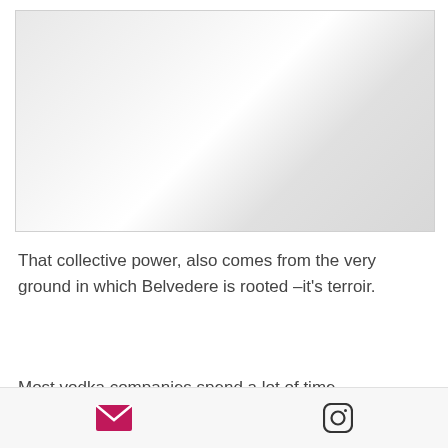[Figure (photo): Blurred/placeholder image area with light grey gradient background, representing a product or landscape photo]
That collective power, also comes from the very ground in which Belvedere is rooted –it's terroir.
Most vodka companies spend a lot of time enhancing distillation techniques,
Email icon and Instagram icon navigation bar